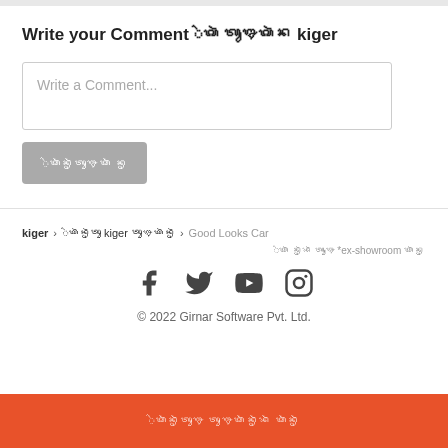Write your Comment ᬂᬕᬃ ᬢᬸᬍᬕᬃᬦ kiger
[Figure (screenshot): Comment text input box with placeholder text 'Write a Comment...']
[Figure (screenshot): Gray submit button with Kannada text]
kiger > ᬂᬕᬃᬦᬺᬃ kiger ᬢᬸᬍᬕᬃᬦᬺᬃ > Good Looks Car
ᬂᬕᬃ ᬦᬺᬃᬪᬃ ᬢᬸᬍ *ex-showroom ᬕᬃᬦᬺ
[Figure (screenshot): Social media icons: Facebook, Twitter, YouTube, Instagram]
© 2022 Girnar Software Pvt. Ltd.
ᬂᬕᬃᬦᬺᬃᬢᬸᬍ ᬢᬸᬍᬕᬃᬦᬺᬃᬪᬃ ᬕᬃᬦᬺᬃ